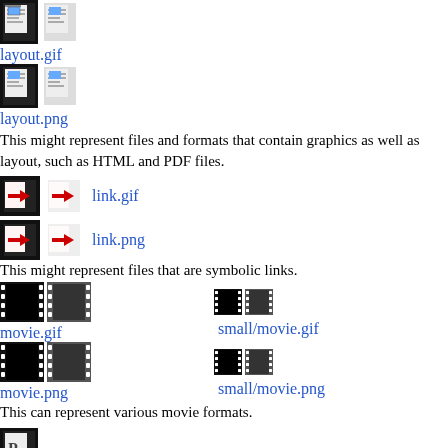[Figure (illustration): Two document icons for layout.gif]
layout.gif
[Figure (illustration): Two document icons for layout.png]
layout.png
This might represent files and formats that contain graphics as well as layout, such as HTML and PDF files.
[Figure (illustration): Two link icons for link.gif]
link.gif
[Figure (illustration): Two link icons for link.png]
link.png
This might represent files that are symbolic links.
[Figure (illustration): Two large movie icons for movie.gif and two small movie icons for small/movie.gif]
movie.gif
small/movie.gif
[Figure (illustration): Two large movie icons for movie.png and two small movie icons for small/movie.png]
movie.png
small/movie.png
This can represent various movie formats.
[Figure (illustration): Two p icons for p.gif]
p.gif
[Figure (illustration): Two p icons for p.png]
p.png
This may stand for Perl or Python source code.